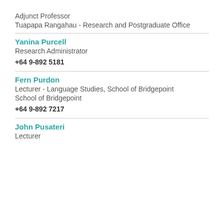Adjunct Professor
Tuapapa Rangahau - Research and Postgraduate Office
Yanina Purcell
Research Administrator
+64 9-892 5181
Fern Purdon
Lecturer - Language Studies, School of Bridgepoint
School of Bridgepoint
+64 9-892 7217
John Pusateri
Lecturer